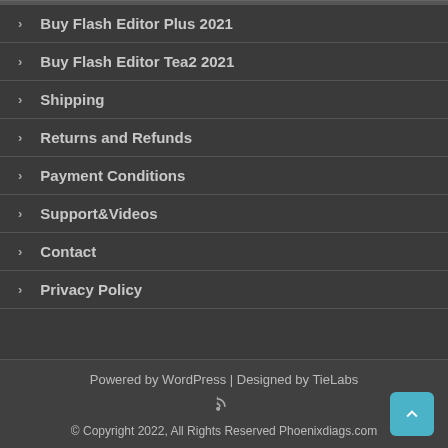Buy Flash Editor Plus 2021
Buy Flash Editor Tea2 2021
Shipping
Returns and Refunds
Payment Conditions
Support&Videos
Contact
Privacy Policy
Powered by WordPress | Designed by TieLabs
© Copyright 2022, All Rights Reserved Phoenixdiags.com